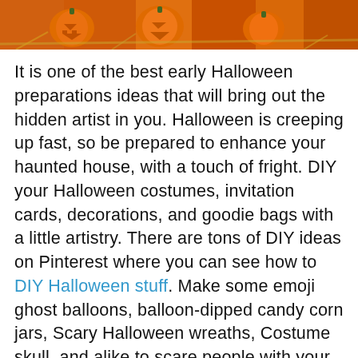[Figure (photo): Orange pumpkins with Halloween faces, straw decoration visible in background]
It is one of the best early Halloween preparations ideas that will bring out the hidden artist in you. Halloween is creeping up fast, so be prepared to enhance your haunted house, with a touch of fright. DIY your Halloween costumes, invitation cards, decorations, and goodie bags with a little artistry. There are tons of DIY ideas on Pinterest where you can see how to DIY Halloween stuff. Make some emoji ghost balloons, balloon-dipped candy corn jars, Scary Halloween wreaths, Costume skull, and alike to scare people with your imaginative mind.
By Sl...